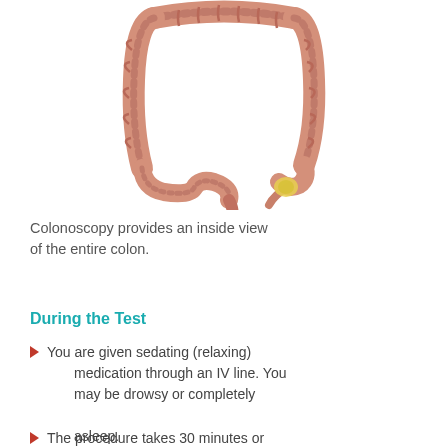[Figure (illustration): Medical illustration of the human colon/large intestine showing its anatomy including the appendix and rectum, with a small highlighted polyp visible near the appendix area.]
Colonoscopy provides an inside view of the entire colon.
During the Test
You are given sedating (relaxing) medication through an IV line. You may be drowsy or completely asleep.
The procedure takes 30 minutes or